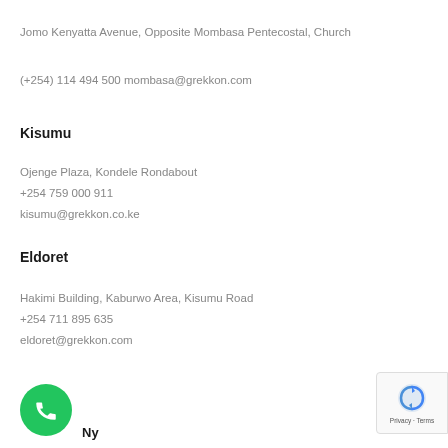Jomo Kenyatta Avenue, Opposite Mombasa Pentecostal, Church
(+254) 114 494 500 mombasa@grekkon.com
Kisumu
Ojenge Plaza, Kondele Rondabout
+254 759 000 911
kisumu@grekkon.co.ke
Eldoret
Hakimi Building, Kaburwo Area, Kisumu Road
+254 711 895 635
eldoret@grekkon.com
Ny